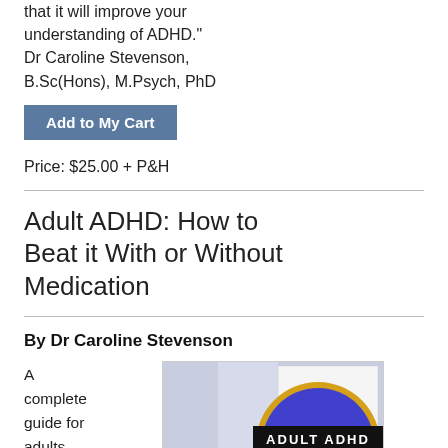that it will improve your understanding of ADHD." Dr Caroline Stevenson, B.Sc(Hons), M.Psych, PhD
Add to My Cart
Price: $25.00 + P&H
Adult ADHD: How to Beat it With or Without Medication
By Dr Caroline Stevenson
A complete guide for adults with ADHD, offering
[Figure (illustration): Book cover for 'Adult ADHD: How to Beat it With or Without Medication' showing a blue circle with gold border on a light blue/grey textured background, with 'ADULT ADHD' in white text on a black banner and subtitle text inside the circle.]